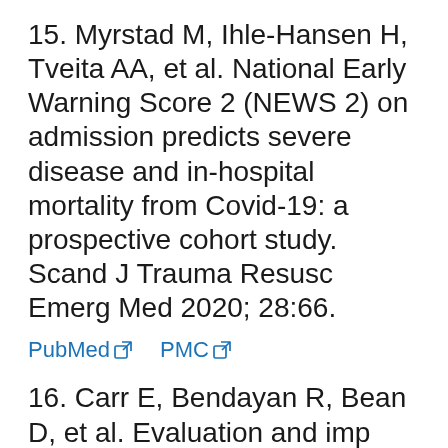15. Myrstad M, Ihle-Hansen H, Tveita AA, et al. National Early Warning Score 2 (NEWS 2) on admission predicts severe disease and in-hospital mortality from Covid-19: a prospective cohort study. Scand J Trauma Resusc Emerg Med 2020; 28:66.
PubMed  PMC
16. Carr E, Bendayan R, Bean D, et al. Evaluation and imp...